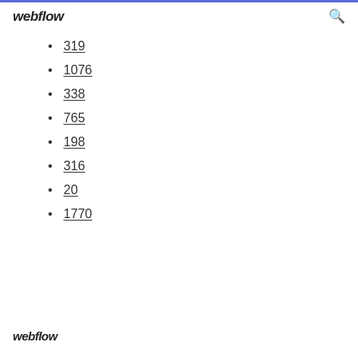webflow
319
1076
338
765
198
316
20
1770
webflow